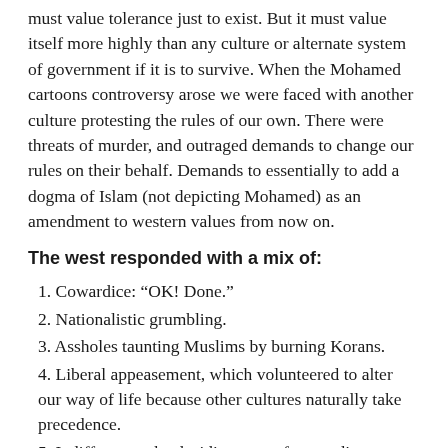must value tolerance just to exist. But it must value itself more highly than any culture or alternate system of government if it is to survive. When the Mohamed cartoons controversy arose we were faced with another culture protesting the rules of our own. There were threats of murder, and outraged demands to change our rules on their behalf. Demands to essentially to add a dogma of Islam (not depicting Mohamed) as an amendment to western values from now on.
The west responded with a mix of:
1. Cowardice: “OK! Done.”
2. Nationalistic grumbling.
3. Assholes taunting Muslims by burning Korans.
4. Liberal appeasement, which volunteered to alter our way of life because other cultures naturally take precedence.
5. Indifference, the deciding vote of many disputes